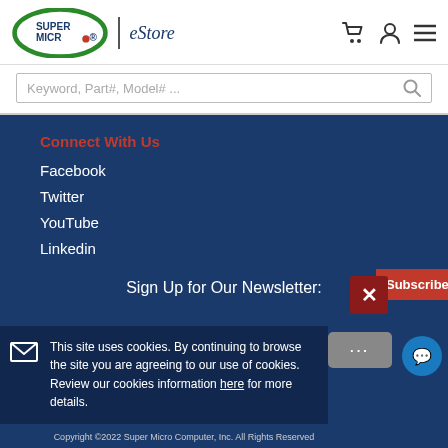[Figure (logo): Supermicro eStore logo with green oval and red dot]
Keyword, Part#, Model# ...
Connect With Us
Facebook
Twitter
YouTube
Linkedin
Sign Up for Our Newsletter:
This site uses cookies. By continuing to browse the site you are agreeing to our use of cookies. Review our cookies information here for more details.
Copyright ©2022 Super Micro Computer, Inc. All Rights Reserved